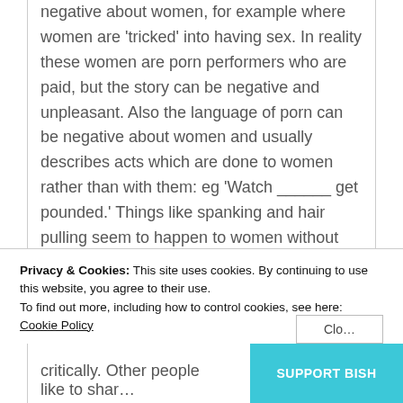negative about women, for example where women are 'tricked' into having sex. In reality these women are porn performers who are paid, but the story can be negative and unpleasant. Also the language of porn can be negative about women and usually describes acts which are done to women rather than with them: eg 'Watch ______ get pounded.' Things like spanking and hair pulling seem to happen to women without talking about whether
Privacy & Cookies: This site uses cookies. By continuing to use this website, you agree to their use.
To find out more, including how to control cookies, see here: Cookie Policy
Close
SUPPORT BISH
critically. Other people like to shar...